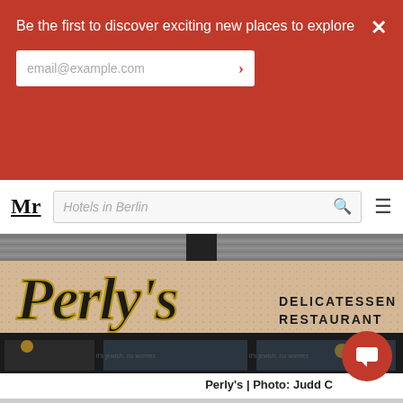Be the first to discover exciting new places to explore
email@example.com
Mr  Hotels in Berlin
[Figure (photo): Exterior photo of Perly's Delicatessen Restaurant, showing the storefront sign with stylized lettering on a speckled beige tile wall, with dark windows below.]
Perly's | Photo: Judd C